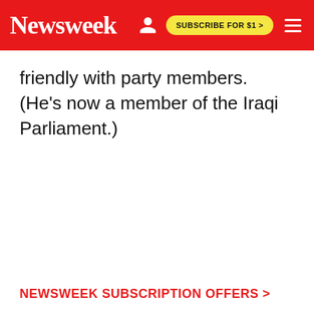Newsweek | SUBSCRIBE FOR $1 >
friendly with party members. (He's now a member of the Iraqi Parliament.)
NEWSWEEK SUBSCRIPTION OFFERS >